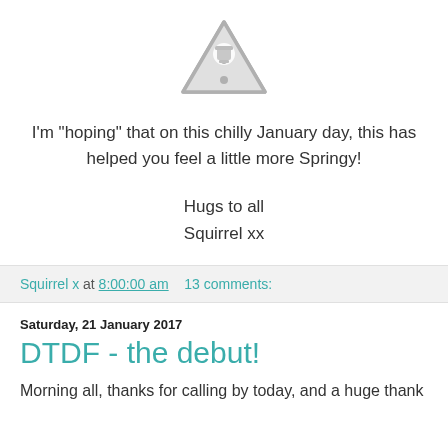[Figure (illustration): A grey warning triangle icon with an exclamation mark inside, centered near the top of the page.]
I'm "hoping" that on this chilly January day, this has helped you feel a little more Springy!
Hugs to all
Squirrel xx
Squirrel x at 8:00:00 am   13 comments:
Saturday, 21 January 2017
DTDF - the debut!
Morning all, thanks for calling by today, and a huge thank